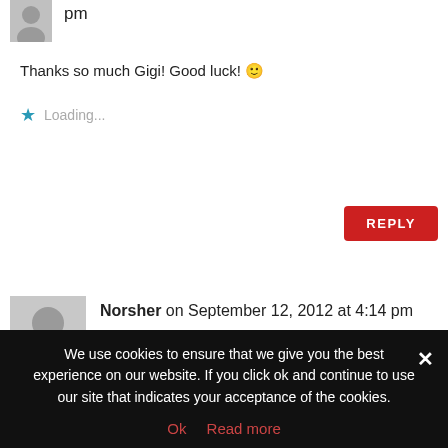[Figure (other): Small gray user avatar icon at top]
pm
Thanks so much Gigi! Good luck! 🙂
★ Loading...
REPLY
[Figure (other): Gray user avatar icon for Norsher comment]
Norsher on September 12, 2012 at 4:14 pm
Count me in too please. Thanks.
★ Loading...
REPLY
We use cookies to ensure that we give you the best experience on our website. If you click ok and continue to use our site that indicates your acceptance of the cookies.
Ok   Read more